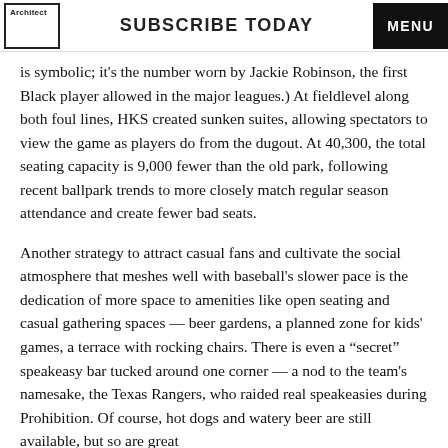Architect | SUBSCRIBE TODAY | MENU
is symbolic; it's the number worn by Jackie Robinson, the first Black player allowed in the major leagues.) At fieldlevel along both foul lines, HKS created sunken suites, allowing spectators to view the game as players do from the dugout. At 40,300, the total seating capacity is 9,000 fewer than the old park, following recent ballpark trends to more closely match regular season attendance and create fewer bad seats.
Another strategy to attract casual fans and cultivate the social atmosphere that meshes well with baseball's slower pace is the dedication of more space to amenities like open seating and casual gathering spaces — beer gardens, a planned zone for kids' games, a terrace with rocking chairs. There is even a “secret” speakeasy bar tucked around one corner — a nod to the team's namesake, the Texas Rangers, who raided real speakeasies during Prohibition. Of course, hot dogs and watery beer are still available, but so are great bright and crisp IPAs. I can see the conversation between our the